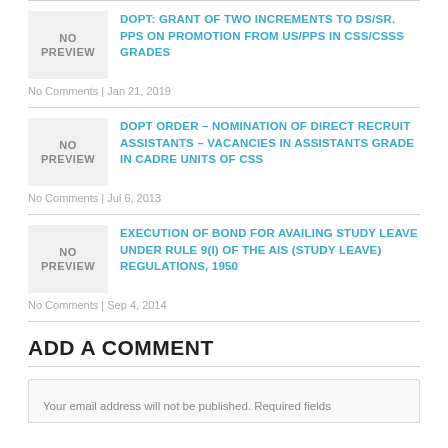DOPT: GRANT OF TWO INCREMENTS TO DS/SR. PPS ON PROMOTION FROM US/PPS IN CSS/CSSS GRADES
No Comments | Jan 21, 2019
DOPT ORDER – NOMINATION OF DIRECT RECRUIT ASSISTANTS – VACANCIES IN ASSISTANTS GRADE IN CADRE UNITS OF CSS
No Comments | Jul 6, 2013
EXECUTION OF BOND FOR AVAILING STUDY LEAVE UNDER RULE 9(I) OF THE AIS (STUDY LEAVE) REGULATIONS, 1950
No Comments | Sep 4, 2014
ADD A COMMENT
Your email address will not be published. Required fields